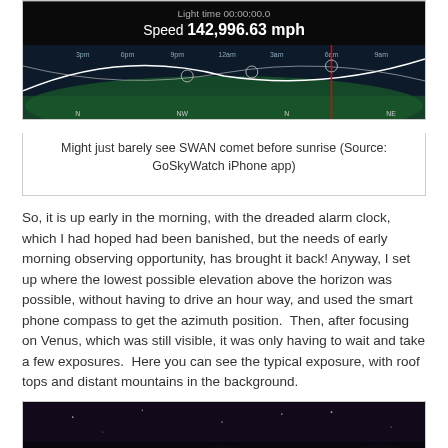[Figure (screenshot): GoSkyWatch iPhone app screenshot showing comet speed 142,996.63 mph and a sky chart with arc paths over a compass/timeline]
Might just barely see SWAN comet before sunrise (Source: GoSkyWatch iPhone app)
So, it is up early in the morning, with the dreaded alarm clock, which I had hoped had been banished, but the needs of early morning observing opportunity, has brought it back! Anyway, I set up where the lowest possible elevation above the horizon was possible, without having to drive an hour way, and used the smart phone compass to get the azimuth position.  Then, after focusing on Venus, which was still visible, it was only having to wait and take a few exposures.  Here you can see the typical exposure, with roof tops and distant mountains in the background.
[Figure (photo): Night sky photograph showing rooftops and distant mountains in the background]